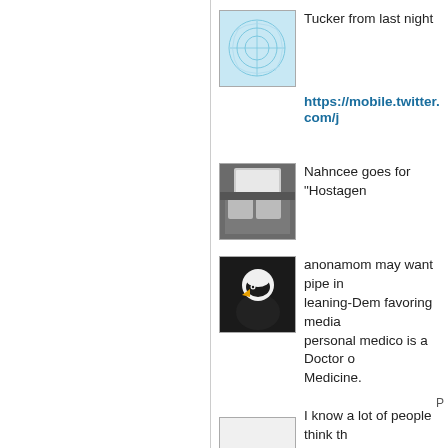[Figure (photo): Avatar: light blue abstract pattern on white background (Tucker)]
Tucker from last night
https://mobile.twitter.com/j...
[Figure (photo): Avatar: photo of a gray couch in front of a window (Nahncee)]
Nahncee goes for "Hostagen..."
[Figure (photo): Avatar: photo of a bald eagle facing left (anonamom)]
anonamom may want pipe in leaning-Dem favoring media personal medico is a Doctor o Medicine.
I know a lot of people think th witchcraft or magic healing. H one and he told me, over drin
P
[Figure (photo): Partially visible avatar at bottom of page]